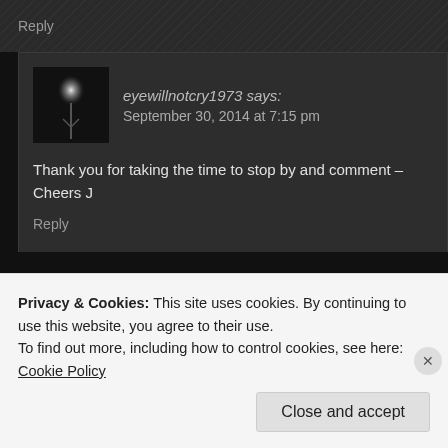Reply
eyewillnotcry1973 says:
September 30, 2014 at 7:15 pm
Thank you for taking the time to stop by and comment – Cheers J
Reply
renemutume says:
September 30, 2014 at 12:28 am
Privacy & Cookies: This site uses cookies. By continuing to use this website, you agree to their use.
To find out more, including how to control cookies, see here: Cookie Policy
Close and accept